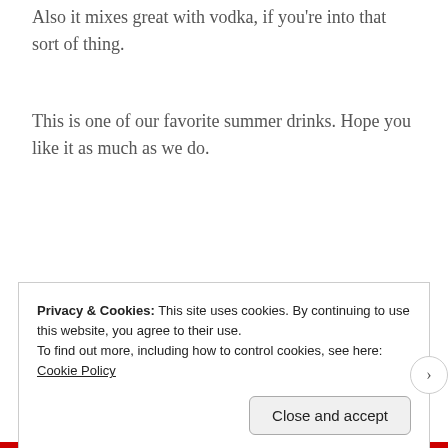Also it mixes great with vodka, if you're into that sort of thing.
This is one of our favorite summer drinks. Hope you like it as much as we do.
Privacy & Cookies: This site uses cookies. By continuing to use this website, you agree to their use.
To find out more, including how to control cookies, see here: Cookie Policy
Close and accept